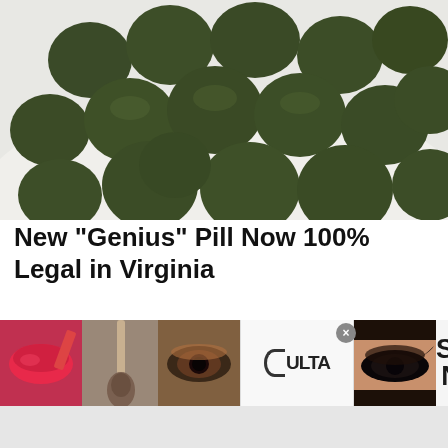[Figure (photo): Pile of dark green round supplement/spirulina tablets on a white plate, close-up photo]
New "Genius" Pill Now 100% Legal in Virginia
Ads by The Healthy Living Club
We use cookies on our website to give you the most relevant experience by remembering your preferences and repeat visits. By clicking “Accept,” you consent to the use of ALL the
[Figure (photo): Ulta Beauty advertisement banner showing makeup-related photos: red lipstick being applied, makeup brush, eye with eyeshadow, Ulta Beauty logo, dramatic eye makeup, with SHOP NOW call to action]